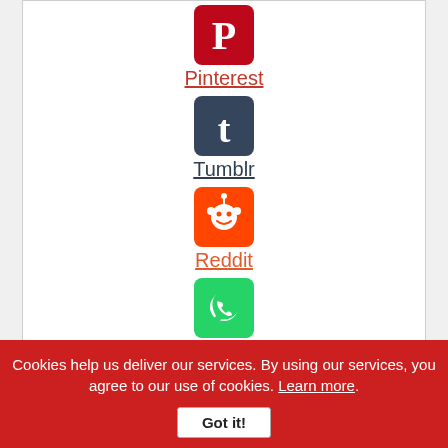[Figure (logo): Pinterest logo icon - red rounded square with white P]
Pinterest
[Figure (logo): Tumblr logo icon - dark navy rounded square with white t]
Tumblr
[Figure (logo): Reddit logo icon - orange rounded square with white alien mascot]
Reddit
[Figure (logo): WhatsApp logo icon - green rounded square with white phone/chat bubble]
WhatsApp
[Figure (logo): Messenger logo icon - blue circle with white lightning bolt chat bubble]
Messenger
Cookies help us deliver our services. By using our services, you agree to our use of cookies. Learn more.
Got it!